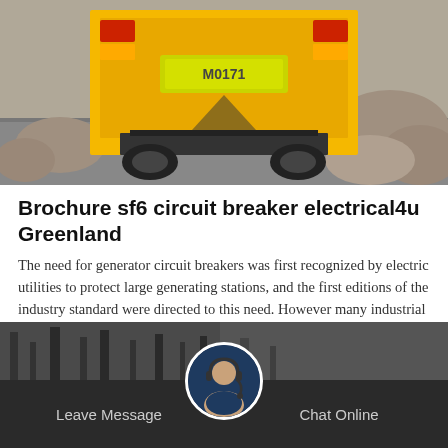[Figure (photo): Rear view of a yellow truck on a road with rocks in background]
Brochure sf6 circuit breaker electrical4u Greenland
The need for generator circuit breakers was first recognized by electric utilities to protect large generating stations, and the first editions of the industry standard were directed to this need. However many industrial and commercial power systems now include small generators as a local source of power.
Get Price
[Figure (photo): Bottom bar with Leave Message and Chat Online options, customer service avatar in center]